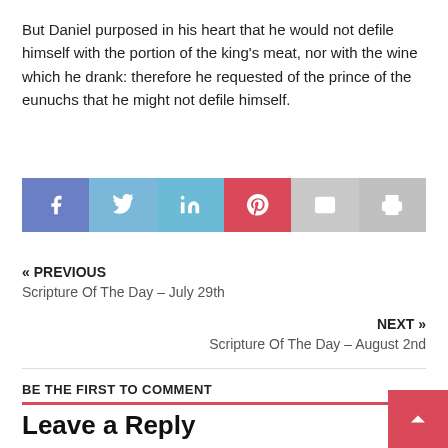But Daniel purposed in his heart that he would not defile himself with the portion of the king's meat, nor with the wine which he drank: therefore he requested of the prince of the eunuchs that he might not defile himself.
[Figure (infographic): Social share buttons: Facebook, Twitter, LinkedIn, Pinterest, Email, Print]
« PREVIOUS
Scripture Of The Day – July 29th
NEXT »
Scripture Of The Day – August 2nd
BE THE FIRST TO COMMENT
Leave a Reply